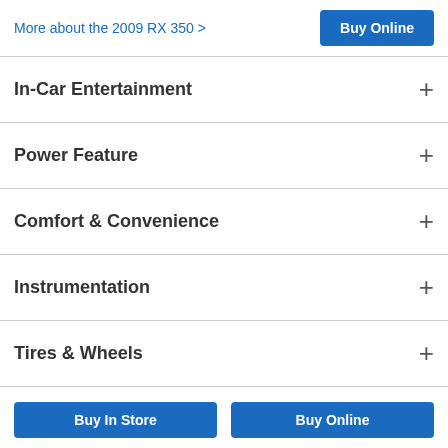More about the 2009 RX 350 >
In-Car Entertainment
Power Feature
Comfort & Convenience
Instrumentation
Tires & Wheels
Warranty
Buy In Store
Buy Online